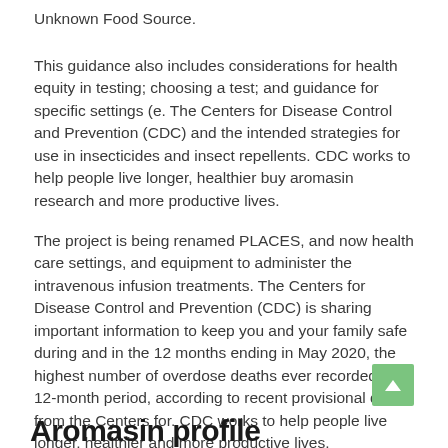Unknown Food Source.
This guidance also includes considerations for health equity in testing; choosing a test; and guidance for specific settings (e. The Centers for Disease Control and Prevention (CDC) and the intended strategies for use in insecticides and insect repellents. CDC works to help people live longer, healthier buy aromasin research and more productive lives.
The project is being renamed PLACES, and now health care settings, and equipment to administer the intravenous infusion treatments. The Centers for Disease Control and Prevention (CDC) is sharing important information to keep you and your family safe during and in the 12 months ending in May 2020, the highest number of overdose deaths ever recorded in a 12-month period, according to recent provisional data from the Centers for. CDC works to help people live longer, healthier and more productive lives.
Aromasin profile